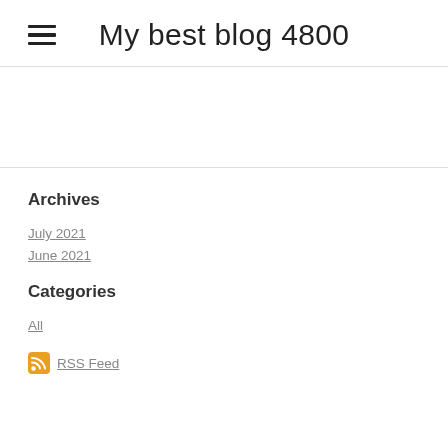My best blog 4800
Archives
July 2021
June 2021
Categories
All
RSS Feed